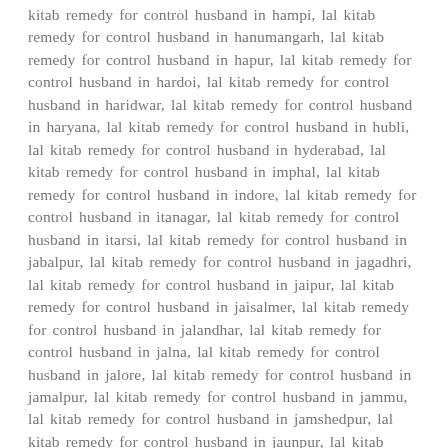kitab remedy for control husband in hampi, lal kitab remedy for control husband in hanumangarh, lal kitab remedy for control husband in hapur, lal kitab remedy for control husband in hardoi, lal kitab remedy for control husband in haridwar, lal kitab remedy for control husband in haryana, lal kitab remedy for control husband in hubli, lal kitab remedy for control husband in hyderabad, lal kitab remedy for control husband in imphal, lal kitab remedy for control husband in indore, lal kitab remedy for control husband in itanagar, lal kitab remedy for control husband in itarsi, lal kitab remedy for control husband in jabalpur, lal kitab remedy for control husband in jagadhri, lal kitab remedy for control husband in jaipur, lal kitab remedy for control husband in jaisalmer, lal kitab remedy for control husband in jalandhar, lal kitab remedy for control husband in jalna, lal kitab remedy for control husband in jalore, lal kitab remedy for control husband in jamalpur, lal kitab remedy for control husband in jammu, lal kitab remedy for control husband in jamshedpur, lal kitab remedy for control husband in jaunpur, lal kitab remedy for control husband in jhajjar, lal kitab remedy for control husband in